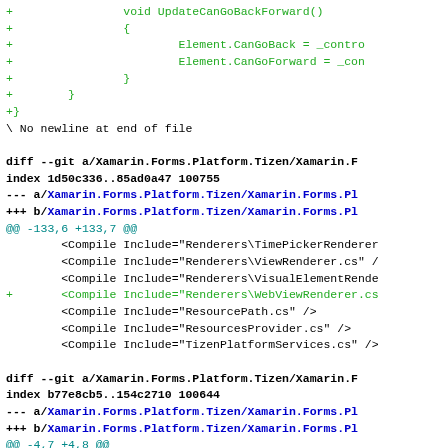Code diff showing changes to Xamarin.Forms.Platform.Tizen files including WebViewRenderer.cs addition and dependency updates